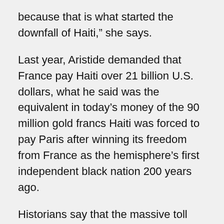because that is what started the downfall of Haiti," she says.
Last year, Aristide demanded that France pay Haiti over 21 billion U.S. dollars, what he said was the equivalent in today's money of the 90 million gold francs Haiti was forced to pay Paris after winning its freedom from France as the hemisphere's first independent black nation 200 years ago.
Historians say that the massive toll that France exacted on Haiti played a large part in the Caribbean country's subsequent descent into stark poverty and under-development.
How closely the reparations issue influenced French actions in the days leading up to Aristide's departure from Haiti is debatable.